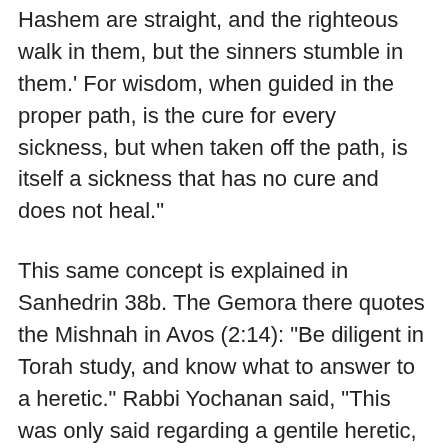Hashem are straight, and the righteous walk in them, but the sinners stumble in them.' For wisdom, when guided in the proper path, is the cure for every sickness, but when taken off the path, is itself a sickness that has no cure and does not heal."
This same concept is explained in Sanhedrin 38b. The Gemora there quotes the Mishnah in Avos (2:14): "Be diligent in Torah study, and know what to answer to a heretic." Rabbi Yochanan said, "This was only said regarding a gentile heretic, but to a Jewish heretic one should not reply, for he will only become worse." Rashi explains that a "gentile heretic" means